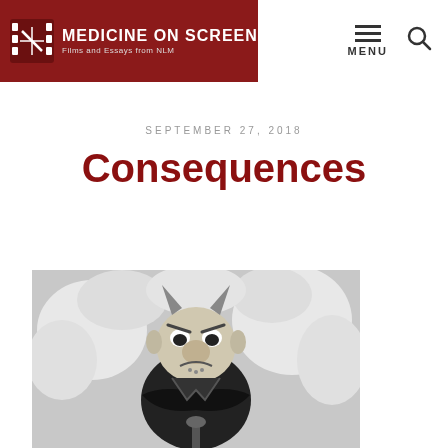MEDICINE ON SCREEN — Films and Essays from NLM
SEPTEMBER 27, 2018
Consequences
[Figure (illustration): Black and white cartoon illustration of a grotesque devil-like figure with horns, pointed ears, and a menacing expression, sitting cross-armed amid clouds of smoke.]